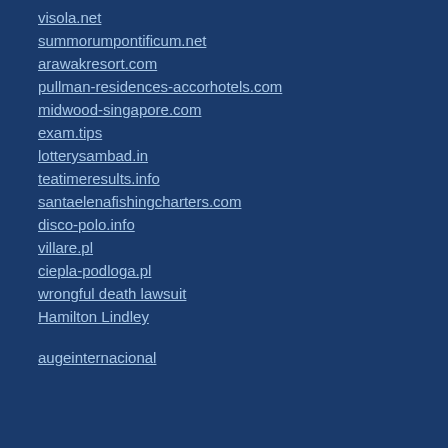visola.net
summorumpontificum.net
arawakresort.com
pullman-residences-accorhotels.com
midwood-singapore.com
exam.tips
lotterysambad.in
teatimeresults.info
santaelenafishingcharters.com
disco-polo.info
villare.pl
ciepla-podloga.pl
wrongful death lawsuit
Hamilton Lindley
augeinternacional